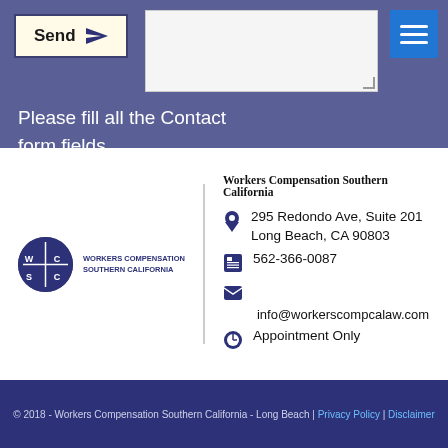[Figure (screenshot): Send button with paper-plane icon on cream background with dark border]
[Figure (screenshot): Blue hamburger menu icon (three horizontal bars) in top-right corner]
[Figure (screenshot): Text input area (textarea) placeholder with resize handle]
Please fill all the Contact form fields.
[Figure (logo): WCSC circular logo in dark navy blue with W, C, S, C letters in quadrants]
WORKERS COMPENSATION SOUTHERN CALIFORNIA
Workers Compensation Southern California
295 Redondo Ave, Suite 201 Long Beach, CA 90803
562-366-0087
info@workerscompcalaw.com
Appointment Only
© 2018 - Workers Compensation Southern California - Long Beach | Privacy Policy | Disclaimer